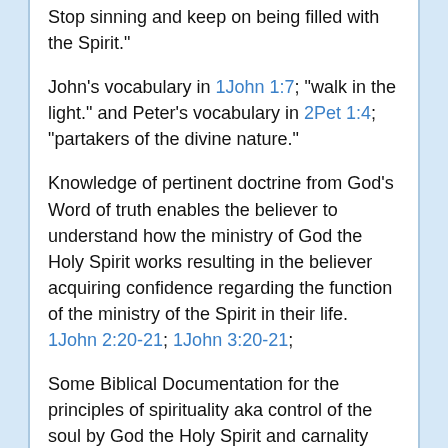Stop sinning and keep on being filled with the Spirit."
John's vocabulary in 1John 1:7; "walk in the light." and Peter's vocabulary in 2Pet 1:4; "partakers of the divine nature."
Knowledge of pertinent doctrine from God's Word of truth enables the believer to understand how the ministry of God the Holy Spirit works resulting in the believer acquiring confidence regarding the function of the ministry of the Spirit in their life. 1John 2:20-21; 1John 3:20-21;
Some Biblical Documentation for the principles of spirituality aka control of the soul by God the Holy Spirit and carnality aka control of the soul by the OSN is found in:
2Cor 3:17-18; NET "Now the Lord is the Spirit; and where the Spirit of the Lord is, there is freedom.